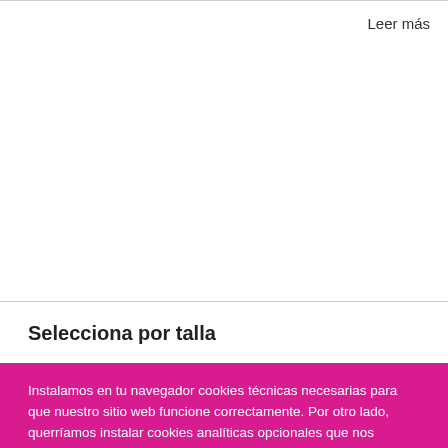Leer más
Selecciona por talla
Instalamos en tu navegador cookies técnicas necesarias para que nuestro sitio web funcione correctamente. Por otro lado, querríamos instalar cookies analíticas opcionales que nos permitirían conocer el uso que haces de nuestra web y las secciones que visitas. A continuación, puedes aceptar esta configuración, modificarla de acuerdo a tus preferencias o rechazarla. Más información en nuestra Política de Cookies.
Cookie Settings
Accept All